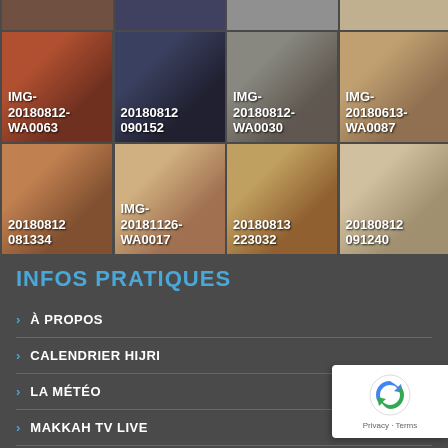[Figure (photo): Grid of 8 photos showing people in various settings, labeled with filenames: IMG-20180812-WA0063, 20180812 090152, IMG-20180812-WA0030, IMG-20180613-WA0087, 20180812 081334, IMG-20181126-WA0017, 20180813 223032, 20180812 091240]
INFOS PRATIQUES
À PROPOS
CALENDRIER HIJRI
LA MÉTÉO
MAKKAH TV LIVE
TAXE SUR VISA